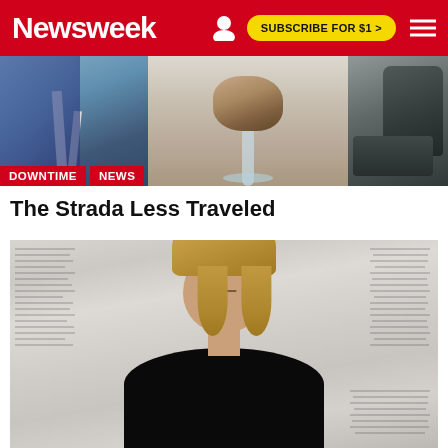Newsweek | SUBSCRIBE FOR $1 >
[Figure (photo): Top banner image showing art objects on a white surface, split into three panels: left panel with jeans/fabric and white bar, center panel with a rock/mineral specimen on a glass stem, right panel with a dark leather chair]
DOWNTIME  NEWS
The Strada Less Traveled
[Figure (photo): Portrait photo of a middle-aged woman with a blonde bob haircut wearing a black top, standing in front of a wall covered with newspaper print]